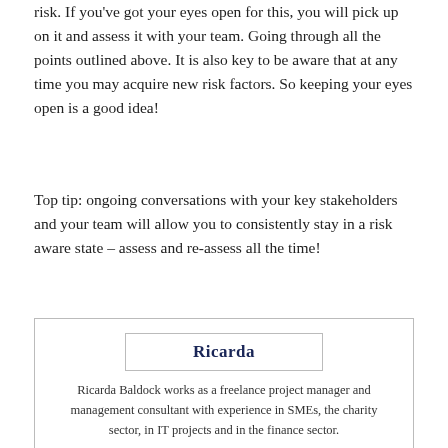risk. If you've got your eyes open for this, you will pick up on it and assess it with your team. Going through all the points outlined above. It is also key to be aware that at any time you may acquire new risk factors. So keeping your eyes open is a good idea!
Top tip: ongoing conversations with your key stakeholders and your team will allow you to consistently stay in a risk aware state – assess and re-assess all the time!
[Figure (other): Author signature box with name 'Ricarda' in bold navy text inside a bordered rectangle, followed by a brief bio of Ricarda Baldock.]
Ricarda Baldock works as a freelance project manager and management consultant with experience in SMEs, the charity sector, in IT projects and in the finance sector.